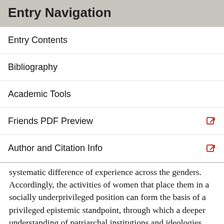Entry Navigation
Entry Contents
Bibliography
Academic Tools
Friends PDF Preview
Author and Citation Info
systematic difference of experience across the genders. Accordingly, the activities of women that place them in a socially underprivileged position can form the basis of a privileged epistemic standpoint, through which a deeper understanding of patriarchal institutions and ideologies can be reached (Hartsock 1983). For most feminist standpoint theorists, including Hartsock, a standpoint is understood as an “achieved stance” and is not just a synonym for a “perspective”. The achievement of an epistemically privileged standpoint involves a political engagement that makes clear to the socially